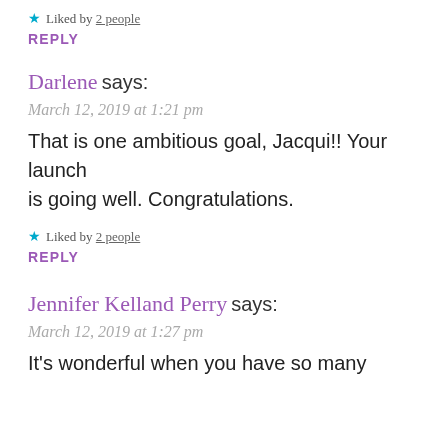Liked by 2 people
REPLY
Darlene says:
March 12, 2019 at 1:21 pm
That is one ambitious goal, Jacqui!! Your launch is going well. Congratulations.
Liked by 2 people
REPLY
Jennifer Kelland Perry says:
March 12, 2019 at 1:27 pm
It's wonderful when you have so many